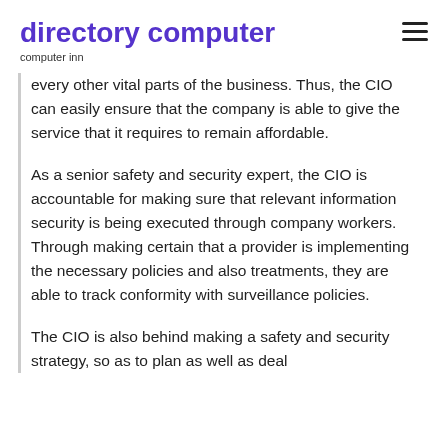directory computer
computer inn
every other vital parts of the business. Thus, the CIO can easily ensure that the company is able to give the service that it requires to remain affordable.
As a senior safety and security expert, the CIO is accountable for making sure that relevant information security is being executed through company workers. Through making certain that a provider is implementing the necessary policies and also treatments, they are able to track conformity with surveillance policies.
The CIO is also behind making a safety and security strategy, so as to plan as well as deal